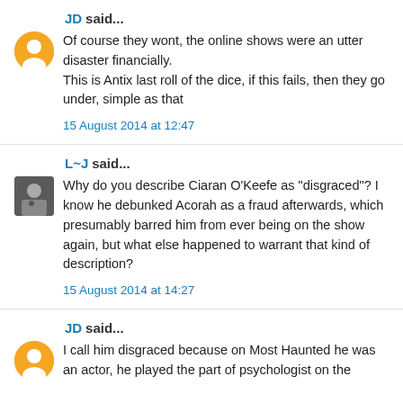JD said...
Of course they wont, the online shows were an utter disaster financially.
This is Antix last roll of the dice, if this fails, then they go under, simple as that
15 August 2014 at 12:47
L~J said...
Why do you describe Ciaran O'Keefe as "disgraced"? I know he debunked Acorah as a fraud afterwards, which presumably barred him from ever being on the show again, but what else happened to warrant that kind of description?
15 August 2014 at 14:27
JD said...
I call him disgraced because on Most Haunted he was an actor, he played the part of psychologist on the